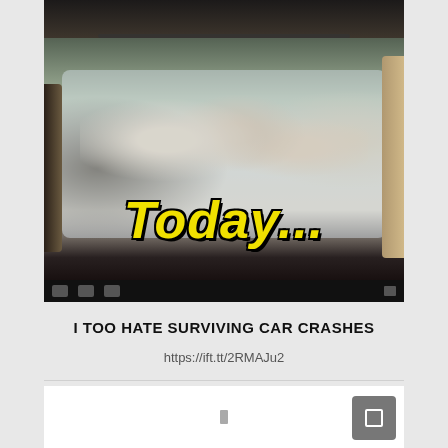[Figure (photo): Screenshot of a meme/video showing three children in the backseat of a car wrapped in bubble wrap, with yellow italic text overlay reading 'Today...' at the bottom, and a dark toolbar strip beneath the image]
I TOO HATE SURVIVING CAR CRASHES
https://ift.tt/2RMAJu2